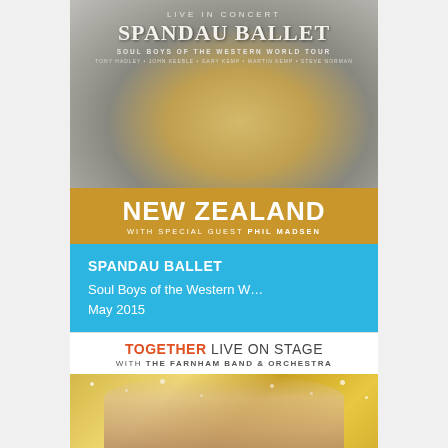[Figure (illustration): Spandau Ballet concert poster with gold decorative element on grey background. Text reads LIVE IN CONCERT, SPANDAU BALLET, SOUL BOYS OF THE WESTERN WORLD TOUR, Tony Hadley · John Keeble · Gary Kemp · Martin Kemp · Steve Norman]
NEW ZEALAND
WITH SPECIAL GUEST PHIL MADSEN
SPANDAU BALLET
Soul Boys of the Western W…
May 2015
[Figure (illustration): Together Live on Stage with The Farnham Band & Orchestra promotional image showing two smiling performers (a blonde woman and a man) against a golden sparkly background]
TOGETHER LIVE ON STAGE
WITH THE FARNHAM BAND & ORCHESTRA